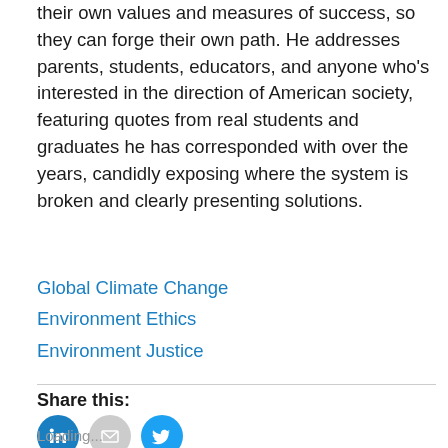their own values and measures of success, so they can forge their own path. He addresses parents, students, educators, and anyone who's interested in the direction of American society, featuring quotes from real students and graduates he has corresponded with over the years, candidly exposing where the system is broken and clearly presenting solutions.
Global Climate Change
Environment Ethics
Environment Justice
Share this:
[Figure (infographic): Three circular social media share buttons: LinkedIn (blue with 'in' icon), Email (gray with envelope icon), Twitter (blue with bird icon)]
Loading...